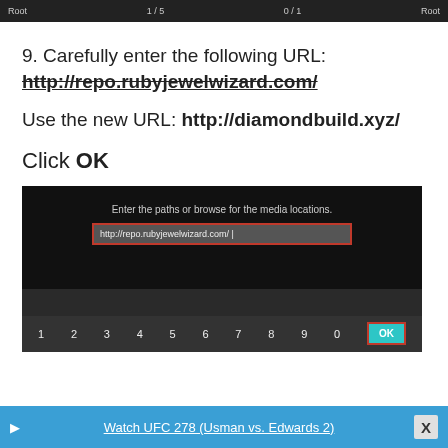Root   1/3   0/1   Root
9. Carefully enter the following URL:
http://repo.rubyjewelwizard.com/
Use the new URL: http://diamondbuild.xyz/
Click OK
[Figure (screenshot): Screenshot of a Kodi media source input dialog showing the URL http://repo.rubyjewelwizard.com/ in a text field highlighted with a red border, with a dark keyboard at the bottom and an OK button.]
Watch UFC 278 (Usman vs. Edwards 2)